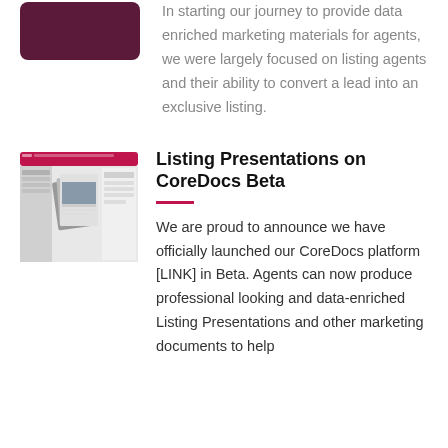[Figure (illustration): Purple/dark maroon rounded rectangle block]
In starting our journey to provide data enriched marketing materials for agents, we were largely focused on listing agents and their ability to convert a lead into an exclusive listing.
[Figure (screenshot): Screenshot of CoreDocs platform showing listing presentation documents and interface]
Listing Presentations on CoreDocs Beta
We are proud to announce we have officially launched our CoreDocs platform [LINK] in Beta. Agents can now produce professional looking and data-enriched Listing Presentations and other marketing documents to help